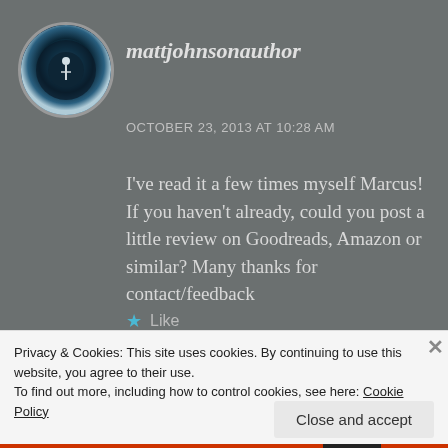mattjohnsonauthor
OCTOBER 23, 2013 AT 10:28 AM
I've read it a few times myself Marcus! If you haven't already, could you post a little review on Goodreads, Amazon or similar? Many thanks for contact/feedback
★ Like
REPLY
Privacy & Cookies: This site uses cookies. By continuing to use this website, you agree to their use.
To find out more, including how to control cookies, see here: Cookie Policy
Close and accept